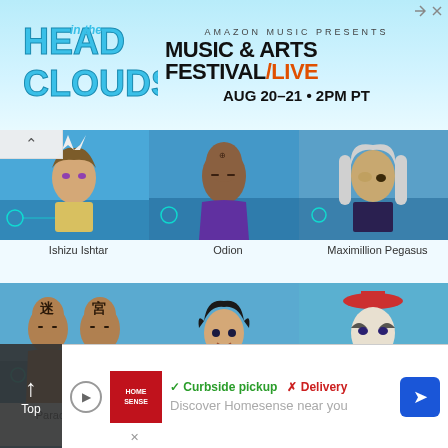[Figure (screenshot): Amazon Music Presents Head in the Clouds Music & Arts Festival / Live banner ad. AUG 20-21 • 2PM PT]
[Figure (photo): Grid of Yu-Gi-Oh anime character portraits: Row 1: Ishizu Ishtar, Odion, Maximillion Pegasus. Row 2: Paradox Brothers, Mokuba Kaiba, Arkana. Row 3: Bonz, Espa Roba, Tristan Taylor.]
Ishizu Ishtar
Odion
Maximillion Pegasus
Paradox Brothers
Mokuba Kaiba
Arkana
Bonz
Espa Roba
Tristan Taylor
[Figure (screenshot): Bottom ad overlay: Home Sense ad showing Curbside pickup checkmark and Delivery X, with navigation arrow icon and 'Discover Homesense near you' text]